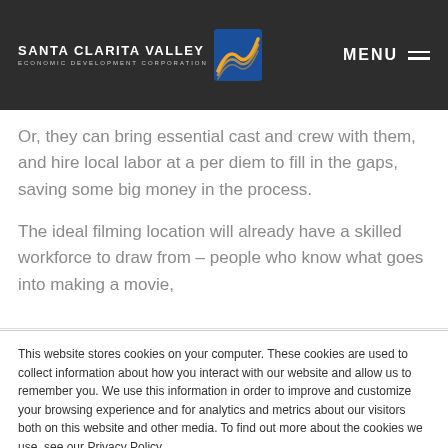SANTA CLARITA VALLEY ECONOMIC DEVELOPMENT CORPORATION — MENU
Or, they can bring essential cast and crew with them, and hire local labor at a per diem to fill in the gaps, saving some big money in the process.
The ideal filming location will already have a skilled workforce to draw from – people who know what goes into making a movie,
This website stores cookies on your computer. These cookies are used to collect information about how you interact with our website and allow us to remember you. We use this information in order to improve and customize your browsing experience and for analytics and metrics about our visitors both on this website and other media. To find out more about the cookies we use, see our Privacy Policy.
Accept